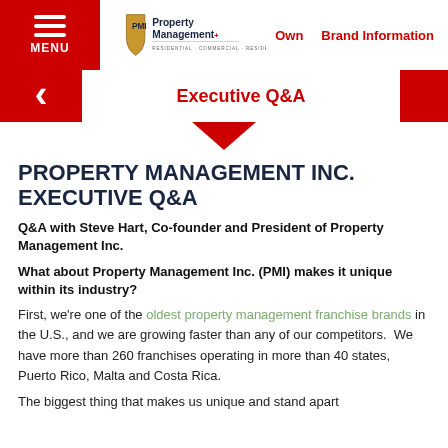MENU | Property Management Inc. | Own | Brand Information
Executive Q&A
PROPERTY MANAGEMENT INC. EXECUTIVE Q&A
Q&A with Steve Hart, Co-founder and President of Property Management Inc.
What about Property Management Inc. (PMI) makes it unique within its industry?
First, we're one of the oldest property management franchise brands in the U.S., and we are growing faster than any of our competitors.  We have more than 260 franchises operating in more than 40 states, Puerto Rico, Malta and Costa Rica.
The biggest thing that makes us unique and stand apart